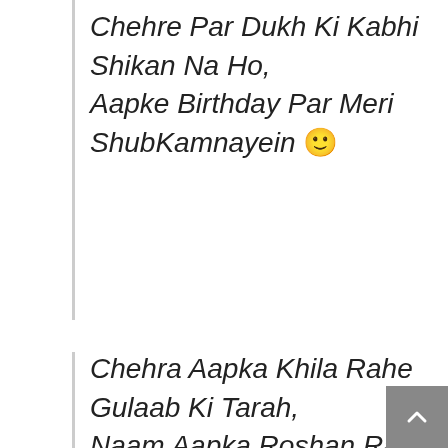Chehre Par Dukh Ki Kabhi Shikan Na Ho, Aapke Birthday Par Meri ShubKamnayein 🙂
Chehra Aapka Khila Rahe Gulaab Ki Tarah, Naam Aapka Roshan Rahe Aaftab Ki Tarah, Gham Mein Bhi Aap Hanste Rehna Phoolon Ki Tarah, Agar Hum Iss Duniya Mein Na...